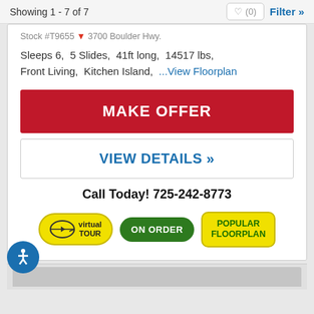Showing 1 - 7 of 7
Stock #T9655 ▼ 3700 Boulder Hwy.
Sleeps 6, 5 Slides, 41ft long, 14517 lbs, Front Living, Kitchen Island, ...View Floorplan
MAKE OFFER
VIEW DETAILS »
Call Today! 725-242-8773
[Figure (infographic): Three badges: Virtual Tour (yellow oval), ON ORDER (green pill), POPULAR FLOORPLAN (yellow rectangle)]